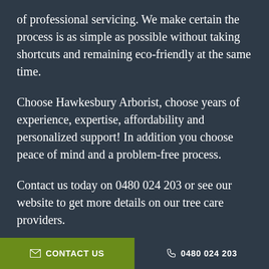of professional servicing. We make certain the process is as simple as possible without taking shortcuts and remaining eco-friendly at the same time.
Choose Hawkesbury Arborist, choose years of experience, expertise, affordability and personalized support! In addition you choose peace of mind and a problem-free process.
Contact us today on 0480 024 203 or see our website to get more details on our tree care providers.
Hawkesbury Arborist
Comprehensive
CONTACT US   0480 024 203